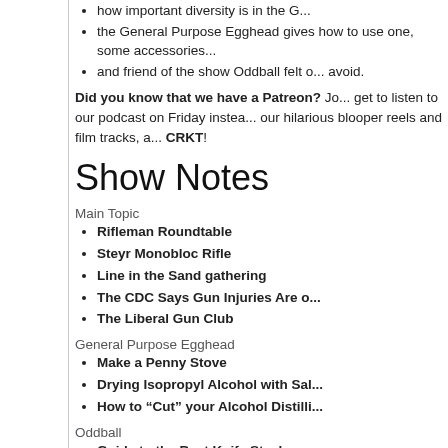how important diversity is in the G...
the General Purpose Egghead gives how to use one, some accessories...
and friend of the show Oddball felt o... avoid.
Did you know that we have a Patreon? Jo... get to listen to our podcast on Friday instea... our hilarious blooper reels and film tracks, a... CRKT!
Show Notes
Main Topic
Rifleman Roundtable
Steyr Monobloc Rifle
Line in the Sand gathering
The CDC Says Gun Injuries Are o...
The Liberal Gun Club
General Purpose Egghead
Make a Penny Stove
Drying Isopropyl Alcohol with Sal...
How to “Cut” your Alcohol Distilli...
Oddball
Guide to the Best Knife Steel
Direct download: Assorted_Calibers_Podcast_Ep_0... Category: general -- posted at: 5:00am EDT
Mon, 15 October 2018
Assorted Calibers P...